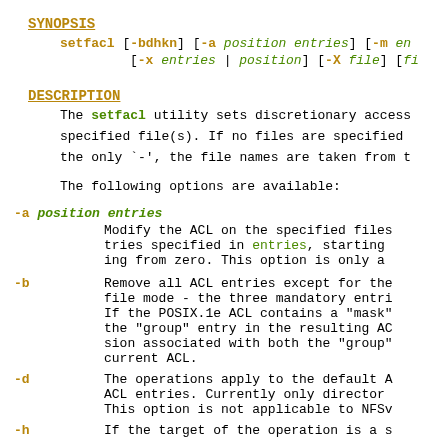SYNOPSIS
setfacl [-bdhkn] [-a position entries] [-m entries] [-x entries | position] [-X file] [fi...]
DESCRIPTION
The setfacl utility sets discretionary access control lists on specified file(s). If no files are specified, the only `-', the file names are taken from t...
The following options are available:
-a position entries — Modify the ACL on the specified files... tries specified in entries, starting... ing from zero. This option is only a...
-b — Remove all ACL entries except for the... file mode - the three mandatory entri... If the POSIX.1e ACL contains a "mask"... the "group" entry in the resulting AC... sion associated with both the "group"... current ACL.
-d — The operations apply to the default A... ACL entries. Currently only director... This option is not applicable to NFSv...
-h — If the target of the operation is a s...